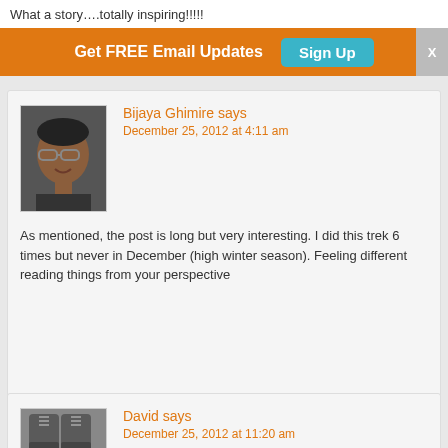What a story….totally inspiring!!!!!
Get FREE Email Updates  Sign Up
[Figure (photo): Avatar photo of Bijaya Ghimire - man with glasses]
Bijaya Ghimire says
December 25, 2012 at 4:11 am
As mentioned, the post is long but very interesting. I did this trek 6 times but never in December (high winter season). Feeling different reading things from your perspective
[Figure (photo): Avatar photo of David - hiking boots]
David says
December 25, 2012 at 11:20 am